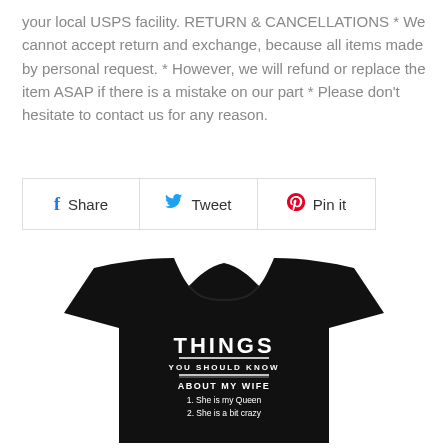your local USPS facility. RETURN & CANCELLATIONS * We cannot accept return and exchange, because all items made by personal request. * However, we will refund or replace the item ASAP if there is a mistake on our part * Please don't hesitate to contact us for any reason.
[Figure (other): Social sharing buttons: Share (Facebook), Tweet (Twitter), Pin it (Pinterest)]
[Figure (photo): Black t-shirt with white text reading THINGS YOU SHOULD KNOW ABOUT MY WIFE 1. She is my Queen 2. She is a bit crazy]